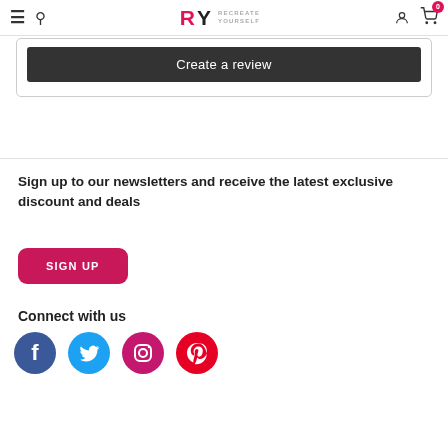RY RECREATE YOURSELF — navigation bar with hamburger, search, logo, account, cart (0)
[Figure (screenshot): Dark button labeled 'Create a review' inside a rounded card]
Sign up to our newsletters and receive the latest exclusive discount and deals
[Figure (other): Pink 'SIGN UP' button]
Connect with us
[Figure (other): Social media icons: Facebook (blue), Twitter (cyan), Instagram (pink), Pinterest (red)]